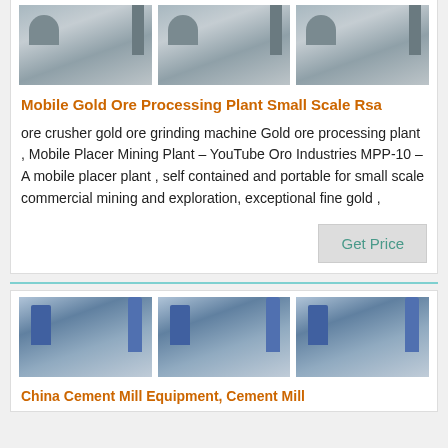[Figure (photo): Three repeated images of a gold ore processing plant/industrial machinery with silos and equipment, shown in a row at the top of the first card.]
Mobile Gold Ore Processing Plant Small Scale Rsa
ore crusher gold ore grinding machine Gold ore processing plant , Mobile Placer Mining Plant – YouTube Oro Industries MPP-10 – A mobile placer plant , self contained and portable for small scale commercial mining and exploration, exceptional fine gold ,
Get Price
[Figure (photo): Three repeated images of a China cement mill equipment/industrial plant with blue silos and machinery, shown in a row at the top of the second card.]
China Cement Mill Equipment, Cement Mill